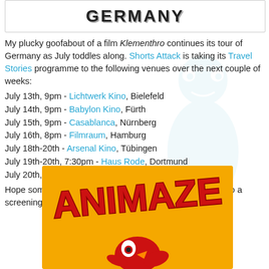[Figure (other): Top banner box with bold text 'GERMANY' in large font]
My plucky goofabout of a film Klementhro continues its tour of Germany as July toddles along. Shorts Attack is taking its Travel Stories programme to the following venues over the next couple of weeks:
July 13th, 9pm - Lichtwerk Kino, Bielefeld
July 14th, 9pm - Babylon Kino, Fürth
July 15th, 9pm - Casablanca, Nürnberg
July 16th, 8pm - Filmraum, Hamburg
July 18th-20th - Arsenal Kino, Tübingen
July 19th-20th, 7:30pm - Haus Rode, Dortmund
July 20th, 9pm - Puschkino, Halle
Hope some of y'all in them Germanic regions can make it to a screening!
[Figure (logo): Animaze festival logo on orange/yellow background with red bold stylized text 'ANIMAZE' and cartoon character below]